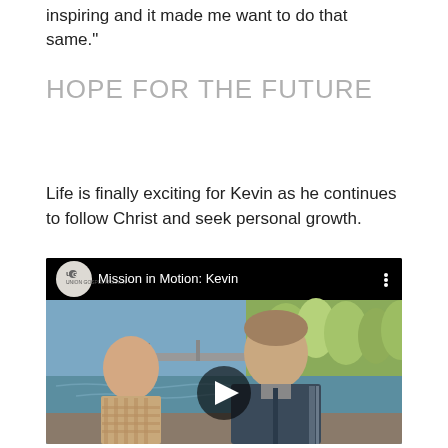inspiring and it made me want to do that same.”
HOPE FOR THE FUTURE
Life is finally exciting for Kevin as he continues to follow Christ and seek personal growth.
[Figure (screenshot): YouTube-style video thumbnail showing two men talking outdoors near a river with trees and a bridge in the background. The video is titled 'Mission in Motion: Kevin' with a UGM logo in the top left corner and a play button in the center.]